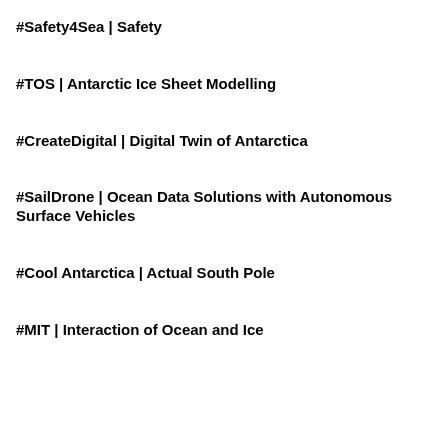#Safety4Sea | Safety
#TOS | Antarctic Ice Sheet Modelling
#CreateDigital | Digital Twin of Antarctica
#SailDrone | Ocean Data Solutions with Autonomous Surface Vehicles
#Cool Antarctica | Actual South Pole
#MIT | Interaction of Ocean and Ice